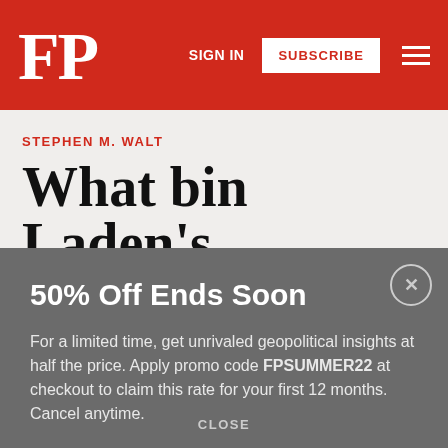FP
SIGN IN  SUBSCRIBE
STEPHEN M. WALT
What bin Laden's
50% Off Ends Soon
For a limited time, get unrivaled geopolitical insights at half the price. Apply promo code FPSUMMER22 at checkout to claim this rate for your first 12 months. Cancel anytime.
GET STARTED
CLOSE